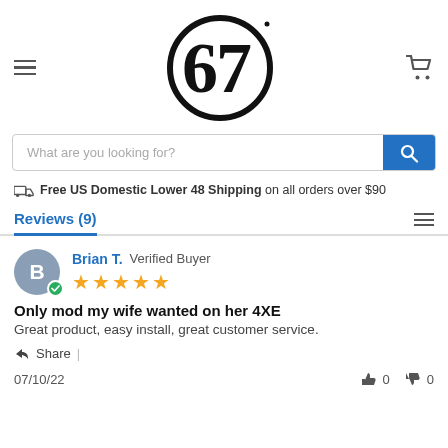[Figure (logo): 67 brand logo inside a circle, black on white]
What are you looking for?
Free US Domestic Lower 48 Shipping on all orders over $90
Reviews (9)
Brian T. Verified Buyer
Only mod my wife wanted on her 4XE
Great product, easy install, great customer service.
Share |
07/10/22
0  0